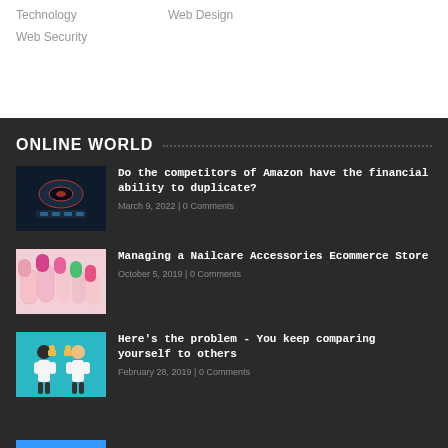Technology
Web Design
Web Security
ONLINE WORLD
[Figure (photo): Dark futuristic technology image with glowing red accents]
Do the competitors of Amazon have the financial ability to duplicate?
March 9, 2022 | 0 Comments
[Figure (photo): Nailcare accessories photo showing painted fingernails]
Managing a Nailcare Accessories Ecommerce Store
October 5, 2019 | 0 Comments
[Figure (illustration): Teal background illustration with two figures in white coats comparing trophies]
Here's the problem - You keep comparing yourself to others
February 28, 2019 | 0 Comments